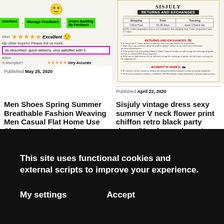[Figure (screenshot): Left product card: eBay-style feedback screenshot showing green nav buttons, star rating 'Excellent', pink-bordered review text 'as described, quick delivery, very satisfied with it.', sub-ratings rows.]
Published May 25, 2020
Men Shoes Spring Summer Breathable Fashion Weaving Men Casual Flat Home Use Shoes Lace Up Loafers
[Figure (screenshot): Right product card: SisJuly vintage dress store policy screenshot showing shipping table (China Post, 15-30 days, www.17track.net), Returns and Exchanges section with US and Russian flag icons and policy text.]
Published April 22, 2020
Sisjuly vintage dress sexy summer V neck flower print chiffon retro black party dress 50s charm elegant female
This site uses functional cookies and external scripts to improve your experience.
My settings
Accept